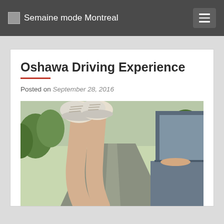Semaine mode Montreal
Oshawa Driving Experience
Posted on September 28, 2016
[Figure (photo): Photo of a person's legs with white sneakers hanging out of a car window on a road surrounded by trees]